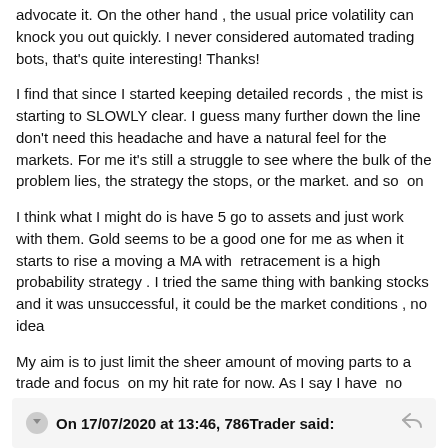advocate it. On the other hand , the usual price volatility can knock you out quickly. I never considered automated trading bots, that's quite interesting! Thanks!
I find that since I started keeping detailed records , the mist is starting to SLOWLY clear. I guess many further down the line don't need this headache and have a natural feel for the markets. For me it's still a struggle to see where the bulk of the problem lies, the strategy the stops, or the market. and so  on
I think what I might do is have 5 go to assets and just work with them. Gold seems to be a good one for me as when it starts to rise a moving a MA with  retracement is a high probability strategy . I tried the same thing with banking stocks and it was unsuccessful, it could be the market conditions , no idea
My aim is to just limit the sheer amount of moving parts to a trade and focus  on my hit rate for now. As I say I have  no expectation of making money this year
On 17/07/2020 at 13:46, 786Trader said: